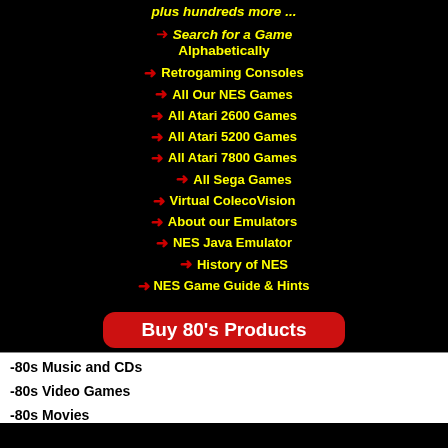plus hundreds more ...
Search for a Game Alphabetically
Retrogaming Consoles
All Our NES Games
All Atari 2600 Games
All Atari 5200 Games
All Atari 7800 Games
All Sega Games
Virtual ColecoVision
About our Emulators
NES Java Emulator
History of NES
NES Game Guide & Hints
[Figure (other): Red rounded rectangle button with white bold text: Buy 80's Products]
-80s Music and CDs
-80s Video Games
-80s Movies